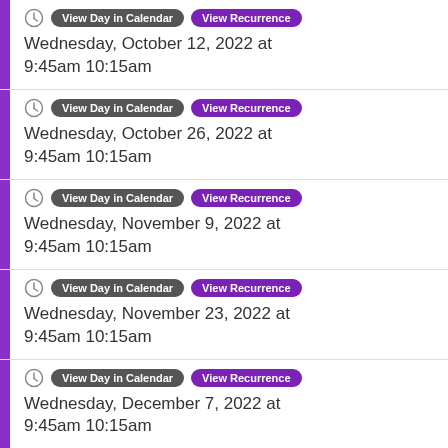Wednesday, October 12, 2022 at 9:45am 10:15am
Wednesday, October 26, 2022 at 9:45am 10:15am
Wednesday, November 9, 2022 at 9:45am 10:15am
Wednesday, November 23, 2022 at 9:45am 10:15am
Wednesday, December 7, 2022 at 9:45am 10:15am
View Day in Calendar  View Recurrence (partial)